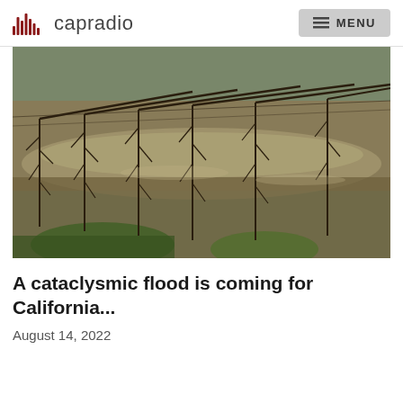capradio  MENU
[Figure (photo): Flooded vineyard with bare grapevines standing in murky brown water, green grass visible at base, rows of vines extending into the distance]
A cataclysmic flood is coming for California...
August 14, 2022